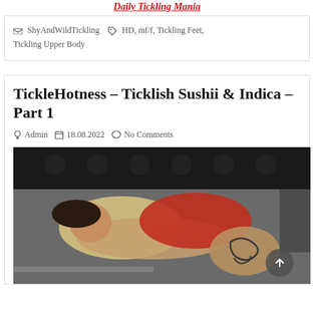Daily Tickling Mania
ShyAndWildTickling  HD, mf/f, Tickling Feet, Tickling Upper Body
TickleHotness – Ticklish Sushii & Indica – Part 1
Admin  18.08.2022  No Comments
[Figure (photo): Two women on a bed, one tickling the other. One wears a red top, the other is laughing. A tattoo of a snake is visible on one person's thigh.]